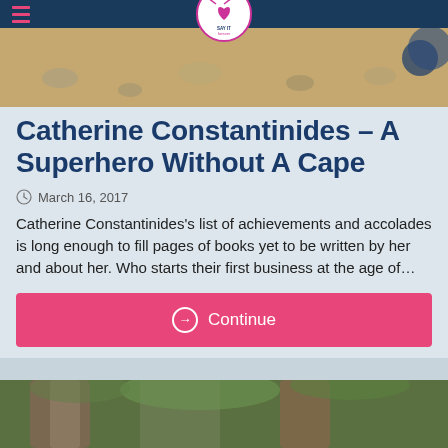SAY IT FOREVER
[Figure (photo): Top portion of a photo showing sandy/rocky ground with a dark navy background at the top, partially obscured by header navigation]
Catherine Constantinides – A Superhero Without A Cape
March 16, 2017
Catherine Constantinides's list of achievements and accolades is long enough to fill pages of books yet to be written by her and about her. Who starts their first business at the age of…
Continue
[Figure (photo): Bottom portion showing a forest/tree bark photo with green foliage]